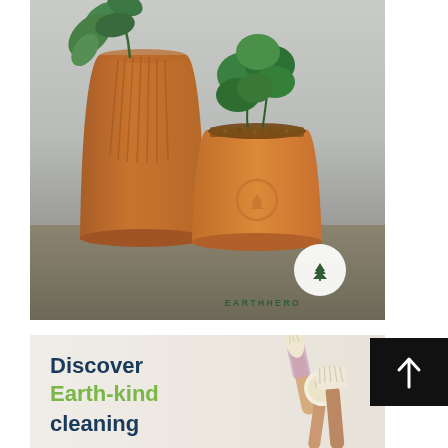[Figure (photo): Terracotta/orange plant pots with green leafy plants on a wooden surface. EarthHero logo (tree icon in circle) with 'EARTHHERO' text visible in lower right of image.]
[Figure (photo): Partial advertisement showing text 'Discover Earth-kind cleaning' with natural cleaning brush products (pale bristle brushes) on light background.]
[Figure (other): Black square button with white upward arrow icon.]